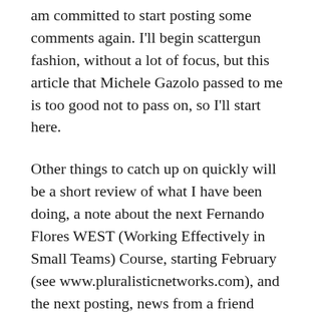am committed to start posting some comments again. I'll begin scattergun fashion, without a lot of focus, but this article that Michele Gazolo passed to me is too good not to pass on, so I'll start here.
Other things to catch up on quickly will be a short review of what I have been doing, a note about the next Fernando Flores WEST (Working Effectively in Small Teams) Course, starting February (see www.pluralisticnetworks.com), and the next posting, news from a friend who has worked some miracles close to me over the years and who is taking a new and I guess important tack on Parkinson's Disease.
Looking forward to be back in touch with many of you